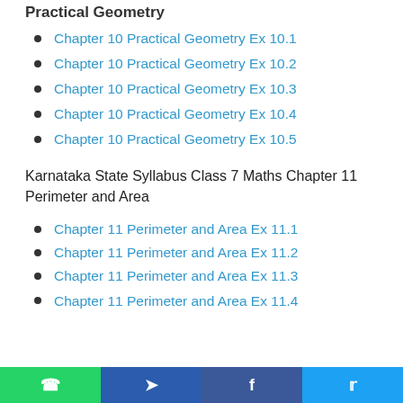Practical Geometry
Chapter 10 Practical Geometry Ex 10.1
Chapter 10 Practical Geometry Ex 10.2
Chapter 10 Practical Geometry Ex 10.3
Chapter 10 Practical Geometry Ex 10.4
Chapter 10 Practical Geometry Ex 10.5
Karnataka State Syllabus Class 7 Maths Chapter 11 Perimeter and Area
Chapter 11 Perimeter and Area Ex 11.1
Chapter 11 Perimeter and Area Ex 11.2
Chapter 11 Perimeter and Area Ex 11.3
Chapter 11 Perimeter and Area Ex 11.4